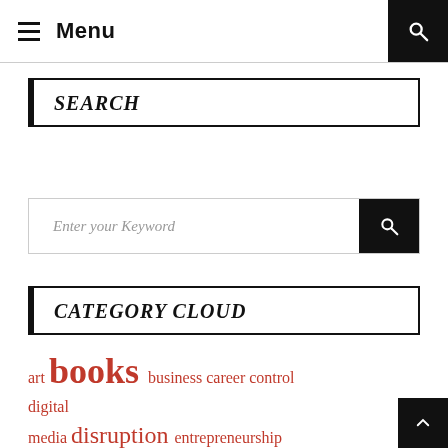Menu
SEARCH
Enter your Keyword
CATEGORY CLOUD
art books business career control digital media disruption entrepreneurship history